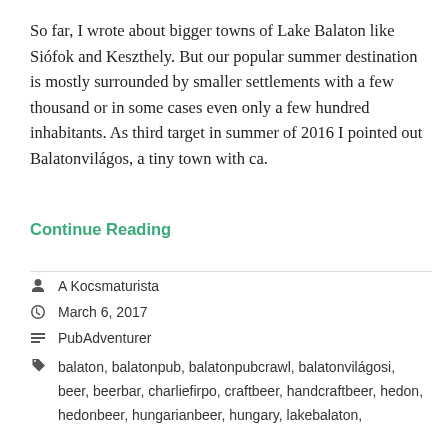So far, I wrote about bigger towns of Lake Balaton like Siófok and Keszthely. But our popular summer destination is mostly surrounded by smaller settlements with a few thousand or in some cases even only a few hundred inhabitants. As third target in summer of 2016 I pointed out Balatonvilágos, a tiny town with ca.
Continue Reading
A Kocsmaturista
March 6, 2017
PubAdventurer
balaton, balatonpub, balatonpubcrawl, balatonvilágosi, beer, beerbar, charliefirpo, craftbeer, handcraftbeer, hedon, hedonbeer, hungarianbeer, hungary, lakebalaton,